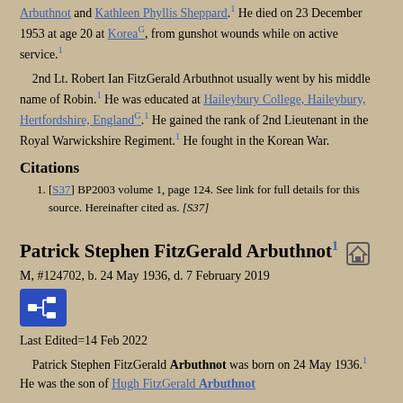Arbuthnot and Kathleen Phyllis Sheppard.1 He died on 23 December 1953 at age 20 at KoreaG, from gunshot wounds while on active service.1
2nd Lt. Robert Ian FitzGerald Arbuthnot usually went by his middle name of Robin.1 He was educated at Haileybury College, Haileybury, Hertfordshire, EnglandG.1 He gained the rank of 2nd Lieutenant in the Royal Warwickshire Regiment.1 He fought in the Korean War.
Citations
[S37] BP2003 volume 1, page 124. See link for full details for this source. Hereinafter cited as. [S37]
Patrick Stephen FitzGerald Arbuthnot1
M, #124702, b. 24 May 1936, d. 7 February 2019
Last Edited=14 Feb 2022
Patrick Stephen FitzGerald Arbuthnot was born on 24 May 1936.1 He was the son of Hugh FitzGerald Arbuthnot